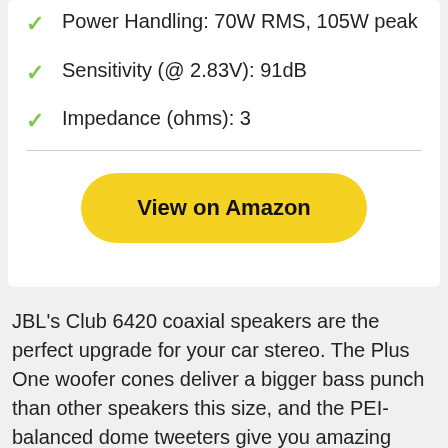Power Handling: 70W RMS, 105W peak
Sensitivity (@ 2.83V): 91dB
Impedance (ohms): 3
[Figure (other): Yellow rounded button labeled 'View on Amazon']
JBL's Club 6420 coaxial speakers are the perfect upgrade for your car stereo. The Plus One woofer cones deliver a bigger bass punch than other speakers this size, and the PEI-balanced dome tweeters give you amazing highs. These JBLs will